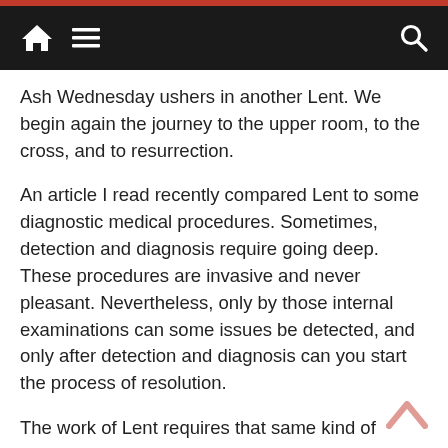Navigation bar with home icon, menu icon, and search icon
Ash Wednesday ushers in another Lent. We begin again the journey to the upper room, to the cross, and to resurrection.
An article I read recently compared Lent to some diagnostic medical procedures. Sometimes, detection and diagnosis require going deep. These procedures are invasive and never pleasant. Nevertheless, only by those internal examinations can some issues be detected, and only after detection and diagnosis can you start the process of resolution.
The work of Lent requires that same kind of internal assessment. It requires a shift of focus such that we are looking into ourselves rather than